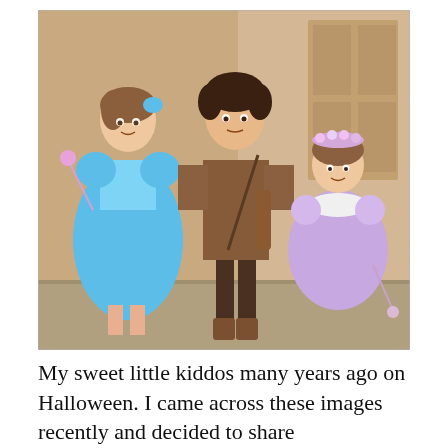[Figure (photo): Three children in Halloween costumes standing inside a home. On the left, a girl in a blue Cinderella-style princess dress holding a pink wand. In the center, a taller boy dressed in a brown Robin Hood or medieval tunic costume with a quiver. On the right, a smaller girl in a lavender fairy costume with a flower crown and wand, kneeling.]
My sweet little kiddos many years ago on Halloween. I came across these images recently and decided to share